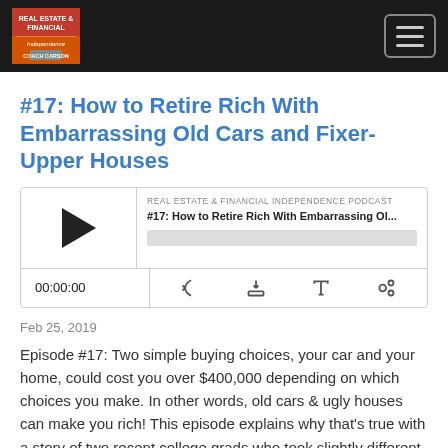Real Estate & Financial Independence Podcast – navigation header
#17: How to Retire Rich With Embarrassing Old Cars and Fixer-Upper Houses
[Figure (other): Podcast audio player widget showing play button, podcast title, progress bar, time display 00:00:00, and control icons for subscribe, download, embed, and share]
Feb 25, 2019
Episode #17: Two simple buying choices, your car and your home, could cost you over $400,000 depending on which choices you make. In other words, old cars & ugly houses can make you rich! This episode explains why that's true with a story of two recent college grads who took slightly different paths that made an...
Read More